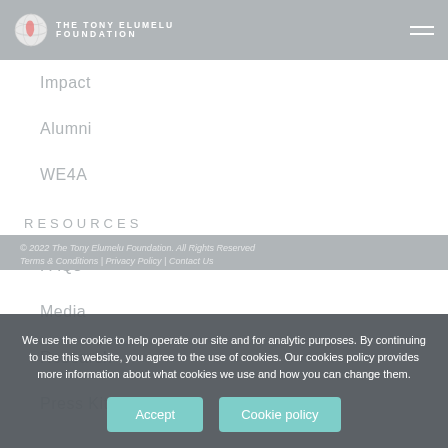The Tony Elumelu Foundation
Impact
Alumni
WE4A
RESOURCES
FAQs
Media
Research
Press Kit
© 2022 The Tony Elumelu Foundation. All Rights Reserved
Terms & Conditions | Privacy Policy | Contact Us
We use the cookie to help operate our site and for analytic purposes. By continuing to use this website, you agree to the use of cookies. Our cookies policy provides more information about what cookies we use and how you can change them.